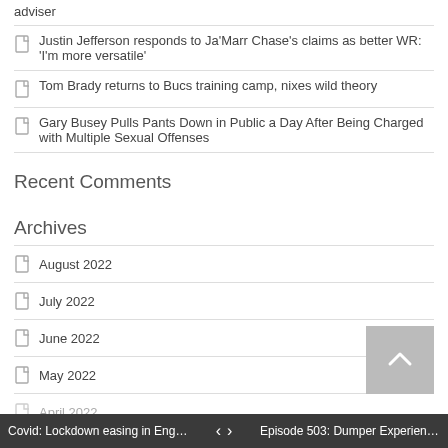adviser
Justin Jefferson responds to Ja'Marr Chase's claims as better WR: 'I'm more versatile'
Tom Brady returns to Bucs training camp, nixes wild theory
Gary Busey Pulls Pants Down in Public a Day After Being Charged with Multiple Sexual Offenses
Recent Comments
Archives
August 2022
July 2022
June 2022
May 2022
April 2022
Covid: Lockdown easing in Engla... < > Episode 503: Dumper Experienc...